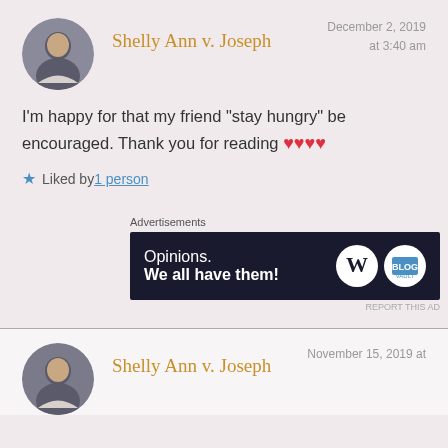Shelly Ann v. Joseph
December 2, 2019 at 3:40 am
I'm happy for that my friend “stay hungry” be encouraged. Thank you for reading ❤️❤️❤️❤️
Liked by 1 person
Advertisements
[Figure (other): Advertisement banner: dark navy background with text 'Opinions. We all have them!' and WordPress logo and another logo on the right side.]
REPORT THIS AD
Shelly Ann v. Joseph
November 15, 2019 at